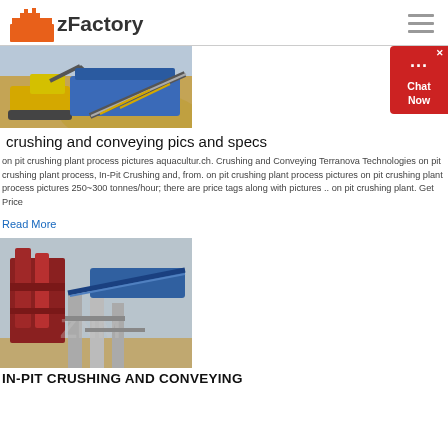zFactory
[Figure (photo): Yellow and blue mobile crushing and screening equipment on a sandy job site]
crushing and conveying pics and specs
on pit crushing plant process pictures aquacultur.ch. Crushing and Conveying Terranova Technologies on pit crushing plant process, In-Pit Crushing and, from. on pit crushing plant process pictures on pit crushing plant process pictures 250~300 tonnes/hour; there are price tags along with pictures .. on pit crushing plant. Get Price
Read More
[Figure (photo): Industrial in-pit crushing and conveying equipment structure with red and blue metal framework]
IN-PIT CRUSHING AND CONVEYING